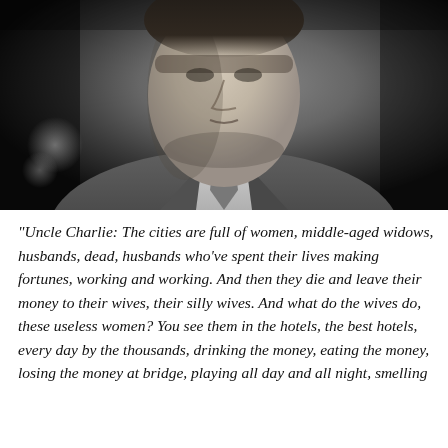[Figure (photo): Black and white photograph of a man in a suit and tie, looking downward with an intense expression. Classic film noir style lighting. The man appears to be the character Uncle Charlie.]
“Uncle Charlie: The cities are full of women, middle-aged widows, husbands, dead, husbands who’ve spent their lives making fortunes, working and working. And then they die and leave their money to their wives, their silly wives. And what do the wives do, these useless women? You see them in the hotels, the best hotels, every day by the thousands, drinking the money, eating the money, losing the money at bridge, playing all day and all night, smelling